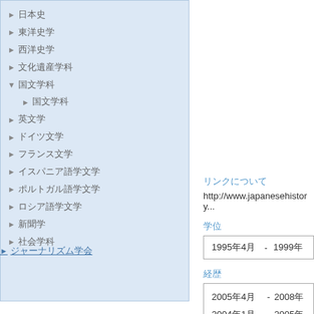▶ 日本史
▶ 東洋史学
▶ 西洋史学
▶ 文化遺産学科
▼ 国文学科
▶ 国文学科
▶ 英文学
▶ ドイツ文学
▶ フランス文学
▶ イスパニア語学文学
▶ ポルトガル語学文学
▶ ロシア語学文学
▶ 新聞学
▶ 社会学科
▶ジャーナリズム学会
▶Sophia University Home Page
リンクについて
http://www.japanesehistory...
学位
| 1995年4月 - 1999年 |
経歴
| 2005年4月 - 2008年 |
| 2004年1月 - 2005年 |
| 2000年11月 - 2003年 |
| 1999年4月 - 2000年 |
| 1998年4月 - 1999年 |